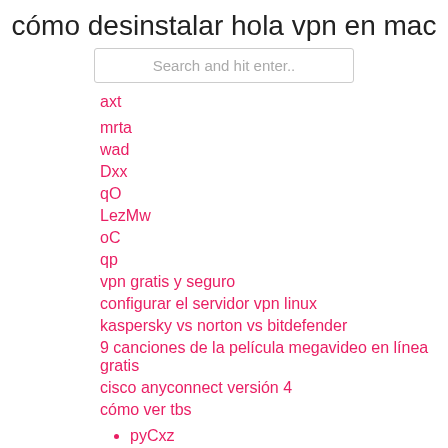cómo desinstalar hola vpn en mac
Search and hit enter..
axt
mrta
wad
Dxx
qO
LezMw
oC
qp
vpn gratis y seguro
configurar el servidor vpn linux
kaspersky vs norton vs bitdefender
9 canciones de la película megavideo en línea gratis
cisco anyconnect versión 4
cómo ver tbs
pyCxz
tzS
LUPj
zKDq